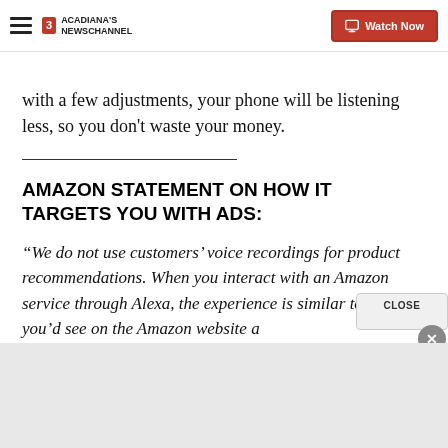ACADIANA'S NEWSCHANNEL | Watch Now
with a few adjustments, your phone will be listening less, so you don't waste your money.
AMAZON STATEMENT ON HOW IT TARGETS YOU WITH ADS:
“We do not use customers’ voice recordings for product recommendations. When you interact with an Amazon service through Alexa, the experience is similar to what you’d see on the Amazon website a…